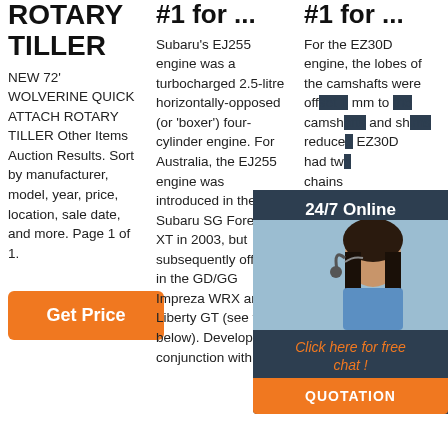ROTARY TILLER
NEW 72' WOLVERINE QUICK ATTACH ROTARY TILLER Other Items Auction Results. Sort by manufacturer, model, year, price, location, sale date, and more. Page 1 of 1.
[Figure (other): Orange 'Get Price' button]
#1 for ...
Subaru's EJ255 engine was a turbocharged 2.5-litre horizontally-opposed (or 'boxer') four-cylinder engine. For Australia, the EJ255 engine was introduced in the Subaru SG Forester XT in 2003, but subsequently offered in the GD/GG Impreza WRX and BL Liberty GT (see table below). Developed in conjunction with
#1 for ...
For the EZ30D engine, the lobes of the camshafts were off... mm to camsh... and sh... reduce EZ30D had tw... chains timing 148 li... right ti... had 13...
[Figure (other): 24/7 Online chat widget overlay with woman in headset, 'Click here for free chat!' text and orange QUOTATION button]
[Figure (other): Orange 'Get Price' button (column 3)]
[Figure (other): TOP badge icon with orange dots and text]